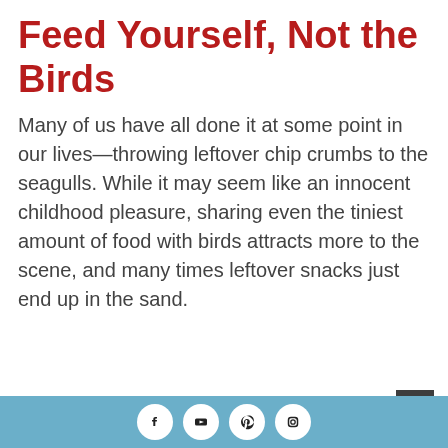Feed Yourself, Not the Birds
Many of us have all done it at some point in our lives—throwing leftover chip crumbs to the seagulls. While it may seem like an innocent childhood pleasure, sharing even the tiniest amount of food with birds attracts more to the scene, and many times leftover snacks just end up in the sand.
Social media icons: Facebook, YouTube, Pinterest, Instagram